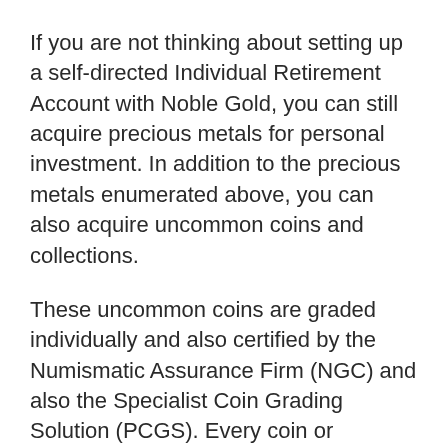If you are not thinking about setting up a self-directed Individual Retirement Account with Noble Gold, you can still acquire precious metals for personal investment. In addition to the precious metals enumerated above, you can also acquire uncommon coins and collections.
These uncommon coins are graded individually and also certified by the Numismatic Assurance Firm (NGC) and also the Specialist Coin Grading Solution (PCGS). Every coin or collection is secured to make sure excellent condition. These coins include Morgan Silver Dollars, 1854 Kellogg $20 Coin, and the Four-Piece Indian– Saint Gauden Establish.